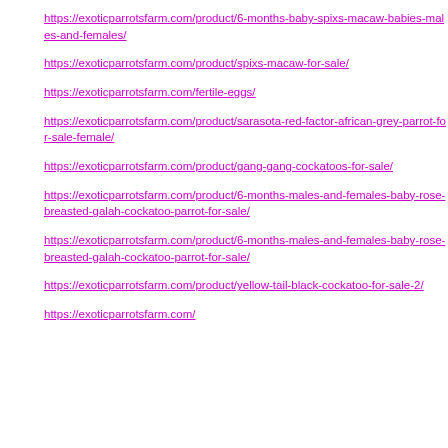https://exoticparrotsfarm.com/product/6-months-baby-spixs-macaw-babies-males-and-females/
https://exoticparrotsfarm.com/product/spixs-macaw-for-sale/
https://exoticparrotsfarm.com/fertile-eggs/
https://exoticparrotsfarm.com/product/sarasota-red-factor-african-grey-parrot-for-sale-female/
https://exoticparrotsfarm.com/product/gang-gang-cockatoos-for-sale/
https://exoticparrotsfarm.com/product/6-months-males-and-females-baby-rose-breasted-galah-cockatoo-parrot-for-sale/
https://exoticparrotsfarm.com/product/6-months-males-and-females-baby-rose-breasted-galah-cockatoo-parrot-for-sale/
https://exoticparrotsfarm.com/product/yellow-tail-black-cockatoo-for-sale-2/
https://exoticparrotsfarm.com/